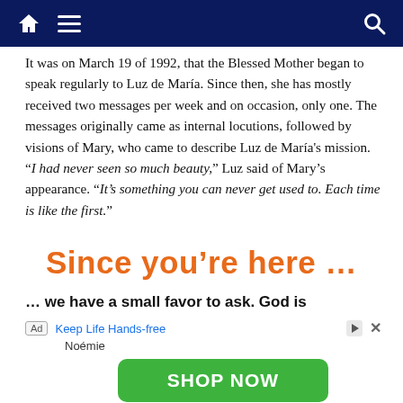Navigation bar with home icon, hamburger menu, and search icon
It was on March 19 of 1992, that the Blessed Mother began to speak regularly to Luz de María. Since then, she has mostly received two messages per week and on occasion, only one. The messages originally came as internal locutions, followed by visions of Mary, who came to describe Luz de María's mission. “I had never seen so much beauty,” Luz said of Mary’s appearance. “It’s something you can never get used to. Each time is like the first.”
Since you’re here …
… we have a small favor to ask. God is
[Figure (screenshot): Advertisement banner: Ad badge, 'Keep Life Hands-free' link, play and close buttons, 'Noémie' text, green 'SHOP NOW' button]